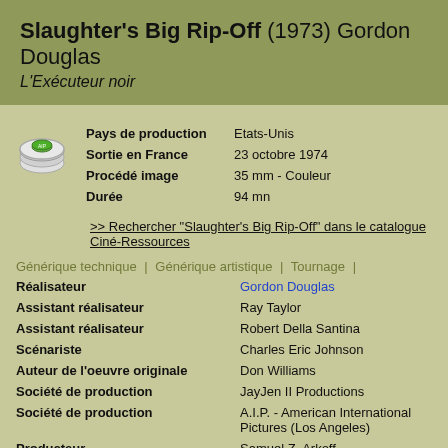Slaughter's Big Rip-Off (1973) Gordon Douglas
L'Exécuteur noir
| Pays de production | Etats-Unis |
| Sortie en France | 23 octobre 1974 |
| Procédé image | 35 mm - Couleur |
| Durée | 94 mn |
>> Rechercher "Slaughter's Big Rip-Off" dans le catalogue Ciné-Ressources
Générique technique | Générique artistique | Tournage |
| Réalisateur | Gordon Douglas |
| Assistant réalisateur | Ray Taylor |
| Assistant réalisateur | Robert Della Santina |
| Scénariste | Charles Eric Johnson |
| Auteur de l'oeuvre originale | Don Williams |
| Société de production | JayJen II Productions |
| Société de production | A.I.P. - American International Pictures (Los Angeles) |
| Producteur | Samuel Z. Arkoff |
| Producteur | Monroe Sachson |
| Producteur associé | Don Williams |
| Producteur exécutif | Samuel Z. Arkoff |